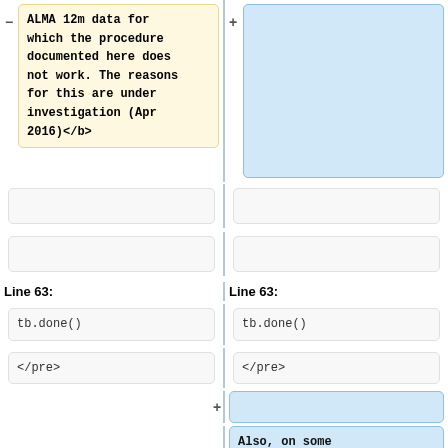ALMA 12m data for which the procedure documented here does not work. The reasons for this are under investigation (Apr 2016)</b>
(empty right cell top)
(empty cells row 1)
(empty cells row 2)
Line 63:
Line 63:
tb.done()
tb.done()
</pre>
</pre>
(empty added cell)
Also, on some occasions ALMA data may have a corrupted POINTING table within